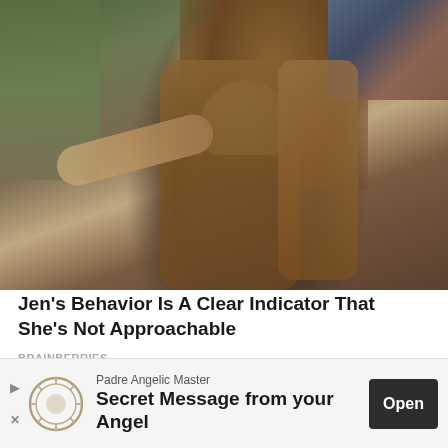[Figure (photo): Woman with long brown hair sitting in a chair, resting her hand near her head, wearing a dark grey ribbed long-sleeve top and a necklace]
Jen's Behavior Is A Clear Indicator That She's Not Approachable
BRAINBERRIES
[Figure (photo): Woman with long dark hair outdoors among driftwood logs, eyes closed, touching her hair]
Padre Angelic Master
Secret Message from your Angel
Open